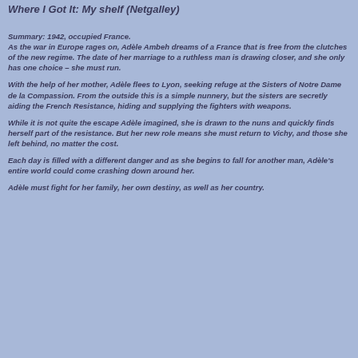Where I Got It: My shelf (Netgalley)
Summary: 1942, occupied France.
As the war in Europe rages on, Adèle Ambeh dreams of a France that is free from the clutches of the new regime. The date of her marriage to a ruthless man is drawing closer, and she only has one choice – she must run.
With the help of her mother, Adèle flees to Lyon, seeking refuge at the Sisters of Notre Dame de la Compassion. From the outside this is a simple nunnery, but the sisters are secretly aiding the French Resistance, hiding and supplying the fighters with weapons.
While it is not quite the escape Adèle imagined, she is drawn to the nuns and quickly finds herself part of the resistance. But her new role means she must return to Vichy, and those she left behind, no matter the cost.
Each day is filled with a different danger and as she begins to fall for another man, Adèle's entire world could come crashing down around her.
Adèle must fight for her family, her own destiny, as well as her country.